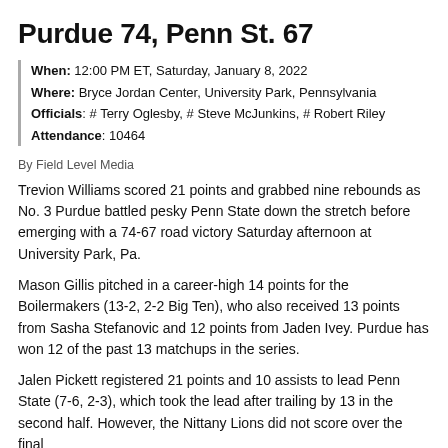Purdue 74, Penn St. 67
When: 12:00 PM ET, Saturday, January 8, 2022
Where: Bryce Jordan Center, University Park, Pennsylvania
Officials: # Terry Oglesby, # Steve McJunkins, # Robert Riley
Attendance: 10464
By Field Level Media
Trevion Williams scored 21 points and grabbed nine rebounds as No. 3 Purdue battled pesky Penn State down the stretch before emerging with a 74-67 road victory Saturday afternoon at University Park, Pa.
Mason Gillis pitched in a career-high 14 points for the Boilermakers (13-2, 2-2 Big Ten), who also received 13 points from Sasha Stefanovic and 12 points from Jaden Ivey. Purdue has won 12 of the past 13 matchups in the series.
Jalen Pickett registered 21 points and 10 assists to lead Penn State (7-6, 2-3), which took the lead after trailing by 13 in the second half. However, the Nittany Lions did not score over the final